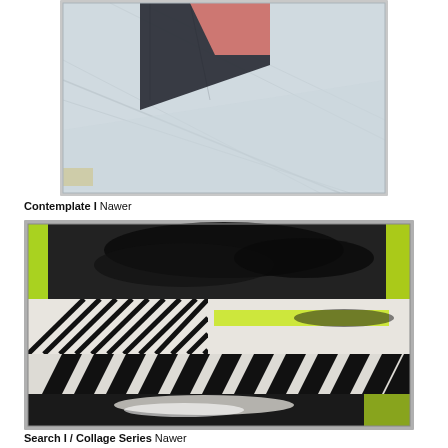[Figure (illustration): Abstract artwork showing geometric diagonal shapes in light blue/grey tones with a dark grey/black shape at top with salmon/pink color accent, framed in a thin grey border]
Contemplate I Nawer
[Figure (illustration): Abstract collage artwork with black and white chevron/diagonal stripe patterns, neon yellow-green paint stripes, and black spray paint textures on panel, framed with thin grey border]
Search I / Collage Series Nawer